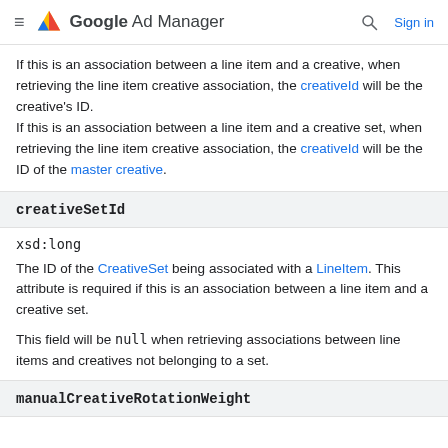≡ Google Ad Manager  🔍  Sign in
If this is an association between a line item and a creative, when retrieving the line item creative association, the creativeId will be the creative's ID.
If this is an association between a line item and a creative set, when retrieving the line item creative association, the creativeId will be the ID of the master creative.
creativeSetId
xsd:long
The ID of the CreativeSet being associated with a LineItem. This attribute is required if this is an association between a line item and a creative set.
This field will be null when retrieving associations between line items and creatives not belonging to a set.
manualCreativeRotationWeight